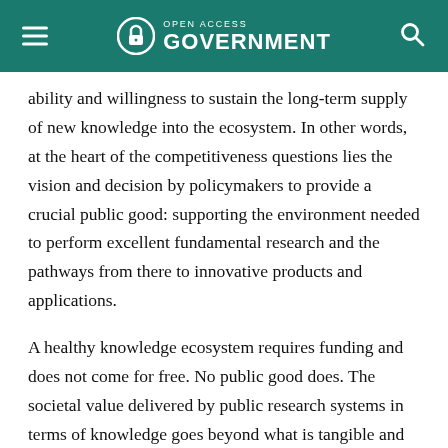Open Access Government
ability and willingness to sustain the long-term supply of new knowledge into the ecosystem. In other words, at the heart of the competitiveness questions lies the vision and decision by policymakers to provide a crucial public good: supporting the environment needed to perform excellent fundamental research and the pathways from there to innovative products and applications.
A healthy knowledge ecosystem requires funding and does not come for free. No public good does. The societal value delivered by public research systems in terms of knowledge goes beyond what is tangible and readily measurable. This is because publicly-funded research often operates with a longer-term perspective and higher risk tolerance than